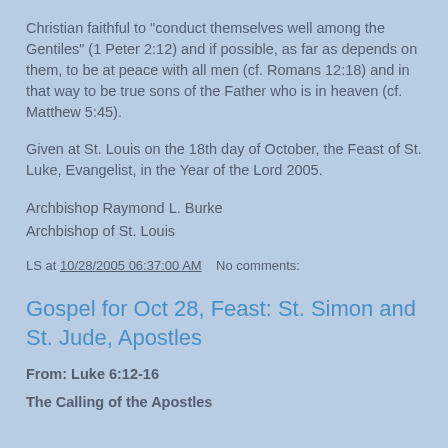Christian faithful to "conduct themselves well among the Gentiles" (1 Peter 2:12) and if possible, as far as depends on them, to be at peace with all men (cf. Romans 12:18) and in that way to be true sons of the Father who is in heaven (cf. Matthew 5:45).
Given at St. Louis on the 18th day of October, the Feast of St. Luke, Evangelist, in the Year of the Lord 2005.
Archbishop Raymond L. Burke
Archbishop of St. Louis
LS at 10/28/2005 06:37:00 AM    No comments:
Gospel for Oct 28, Feast: St. Simon and St. Jude, Apostles
From: Luke 6:12-16
The Calling of the Apostles